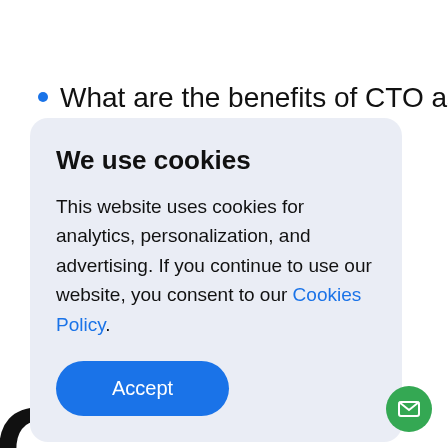What are the benefits of CTO as a
We use cookies
This website uses cookies for analytics, personalization, and advertising. If you continue to use our website, you consent to our Cookies Policy.
Accept